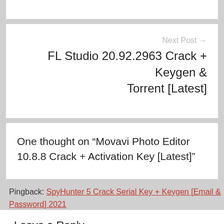Next Post →
FL Studio 20.92.2963 Crack + Keygen & Torrent [Latest]
One thought on “Movavi Photo Editor 10.8.8 Crack + Activation Key [Latest]”
Pingback: SpyHunter 5 Crack Serial Key + Keygen [Email & Password] 2021
Leave a Reply
Your email address will not be published.